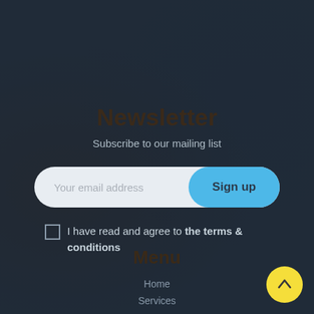[Figure (screenshot): Dark background page with blurred image of hands and tools, overlaid with dark semi-transparent layer]
Newsletter
Subscribe to our mailing list
Your email address
Sign up
I have read and agree to the terms & conditions
Menu
Home
Services